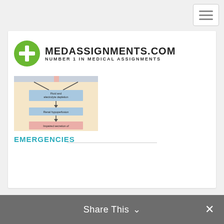[Figure (logo): MedAssignments.com logo — green circle with white plus sign, followed by bold text MEDASSIGNMENTS.COM and tagline NUMBER 1 IN MEDICAL ASSIGNMENTS]
[Figure (flowchart): Medical flowchart diagram showing: Fluid and electrolyte depletion → Renal hypoperfusion → Impaired secretion of [text cut off]. Blue boxes on beige/pink background with arrows.]
EMERGENCIES
Share This ∨  ×